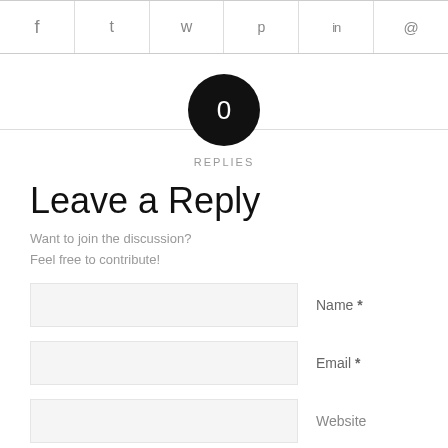[Figure (other): Social share icons row: Facebook, Twitter, WhatsApp, Pinterest, LinkedIn, Email]
[Figure (other): Black circle with '0' and 'REPLIES' label below, centered on horizontal rule]
Leave a Reply
Want to join the discussion?
Feel free to contribute!
Name *
Email *
Website